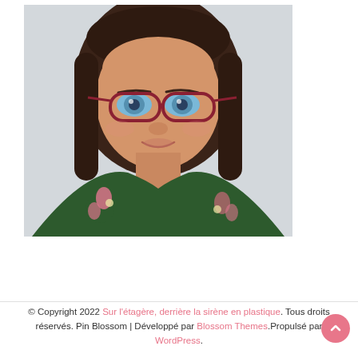[Figure (photo): Portrait photo of a young woman with long dark brown hair, wearing red-pink eyeglasses and a dark green floral top, smiling slightly against a light background.]
© Copyright 2022 Sur l'étagère, derrière la sirène en plastique. Tous droits réservés. Pin Blossom | Développé par Blossom Themes.Propulsé par WordPress.